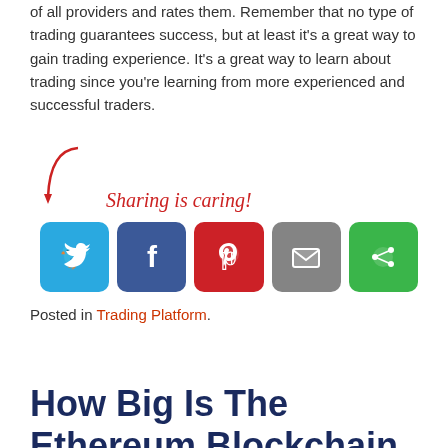of all providers and rates them. Remember that no type of trading guarantees success, but at least it's a great way to gain trading experience. It's a great way to learn about trading since you're learning from more experienced and successful traders.
[Figure (infographic): Sharing is caring! social share buttons: Twitter (blue), Facebook (dark blue), Pinterest (red), Email (grey), More (green)]
Posted in Trading Platform.
How Big Is The Ethereum Blockchain, How Many Ethereum Are There?
Posted on October 21, 2020